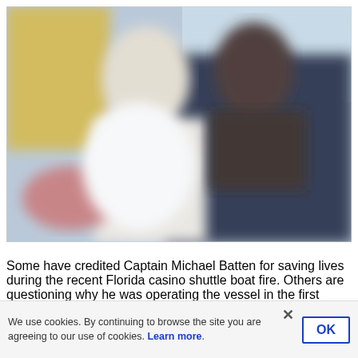[Figure (photo): Blurred photo collage showing two people, one in a white uniform/shirt, against a yellow and dark blue background. Image is intentionally blurred/pixelated.]
Some have credited Captain Michael Batten for saving lives during the recent Florida casino shuttle boat fire. Others are questioning why he was operating the vessel in the first place. (Image: Mark Sims/Daily Mail/WFLA-TV/Collage: Casino.org)
We use cookies. By continuing to browse the site you are agreeing to our use of cookies. Learn more.